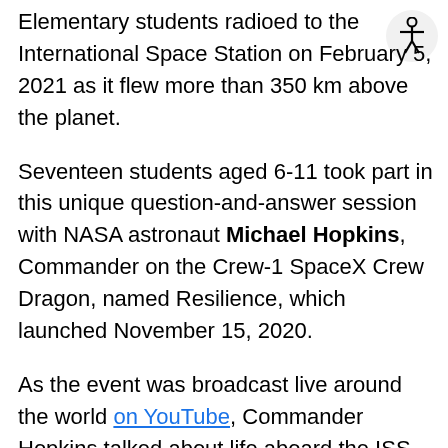Elementary students radioed to the International Space Station on February 5, 2021 as it flew more than 350 km above the planet.
Seventeen students aged 6-11 took part in this unique question-and-answer session with NASA astronaut Michael Hopkins, Commander on the Crew-1 SpaceX Crew Dragon, named Resilience, which launched November 15, 2020.
As the event was broadcast live around the world on YouTube, Commander Hopkins talked about life aboard the ISS, the crew's research, dealing with scary moments in space, and more.
Ms. Lori McFarlane, a first grade teacher at the OCV Central West campus, organized the talk, which marked the first time during the COVID pandemic that a class in Canada connected virtually with the